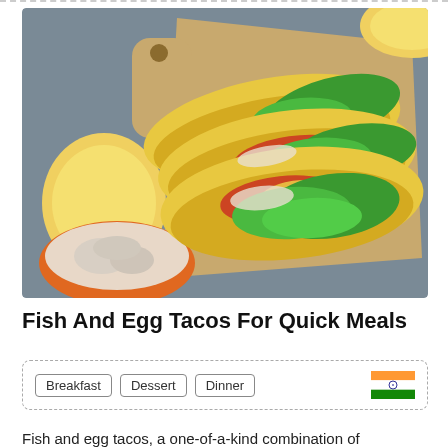[Figure (photo): Overhead photo of three fish tacos in yellow corn tortillas filled with green lettuce, tomatoes, corn, and fish, placed on a wooden cutting board on a gray surface. A halved lemon is visible on the left and top-right. An orange bowl with fish salad is in the bottom-left.]
Fish And Egg Tacos For Quick Meals
Breakfast  Dessert  Dinner  [Indian flag]
Fish and egg tacos, a one-of-a-kind combination of